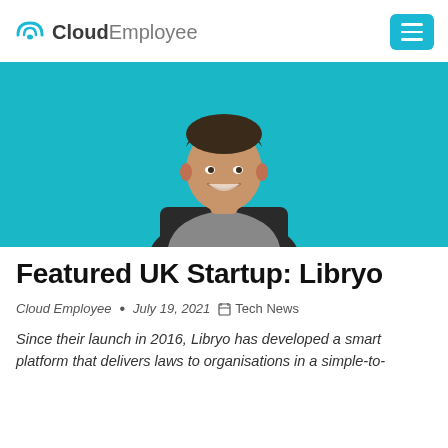CloudEmployee
[Figure (photo): A man with short dark hair smiling, seated in a chair against a teal/turquoise background, wearing a grey v-neck t-shirt.]
Featured UK Startup: Libryo
Cloud Employee  •  July 19, 2021   Tech News
Since their launch in 2016, Libryo has developed a smart platform that delivers laws to organisations in a simple-to-